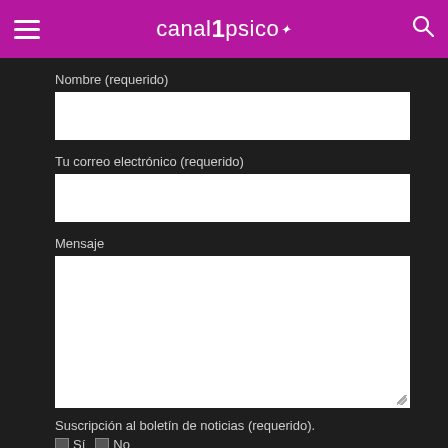canal1psico
Nombre (requerido)
Tu correo electrónico (requerido)
Mensaje
Suscripción al boletín de noticias (requerido).
Sí    No